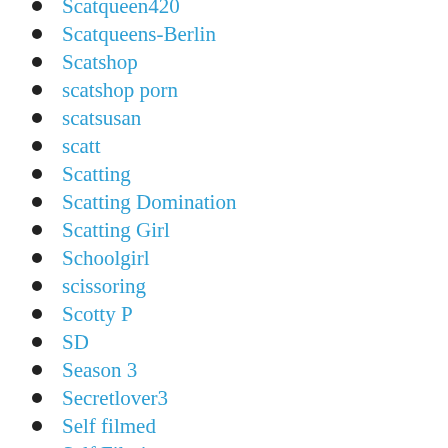Scatqueen420
Scatqueens-Berlin
Scatshop
scatshop porn
scatsusan
scatt
Scatting
Scatting Domination
Scatting Girl
Schoolgirl
scissoring
Scotty P
SD
Season 3
Secretlover3
Self filmed
Self Filming